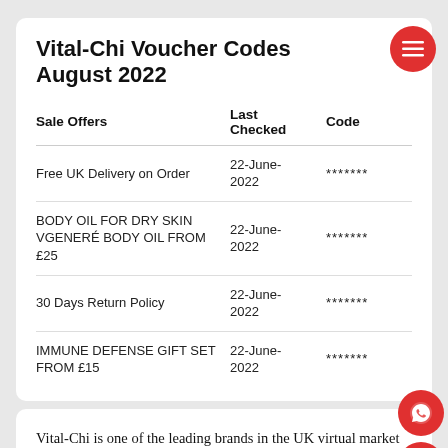Vital-Chi Voucher Codes August 2022
| Sale Offers | Last Checked | Code |
| --- | --- | --- |
| Free UK Delivery on Order | 22-June-2022 | ******* |
| BODY OIL FOR DRY SKIN VGENERÉ BODY OIL FROM £25 | 22-June-2022 | ******* |
| 30 Days Return Policy | 22-June-2022 | ******* |
| IMMUNE DEFENSE GIFT SET FROM £15 | 22-June-2022 | ******* |
Vital-Chi is one of the leading brands in the UK virtual market and is available on GoGetDeals. This store has been in this industry for quite a while and has developed